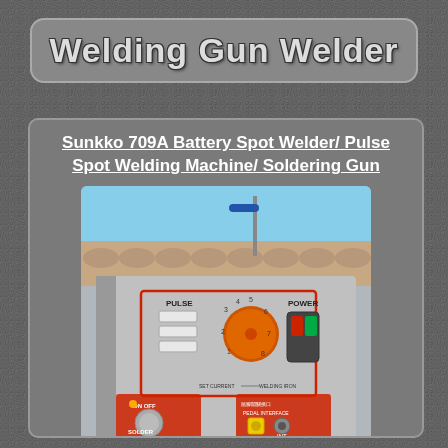Welding Gun Welder
Sunkko 709A Battery Spot Welder/ Pulse Spot Welding Machine/ Soldering Gun
[Figure (photo): Close-up photo of the Sunkko 709A battery spot welder/pulse spot welding machine front panel showing orange rotary knob labeled SET CURRENT with numbers 1-8, three PULSE buttons on the left, a POWER toggle switch with red and green indicators, a SOLDER section at bottom left with rotary knob, and a PEDAL INTERFACE section at bottom right with connectors. The Sunkko 709A branding and Chinese text is visible at the bottom.]